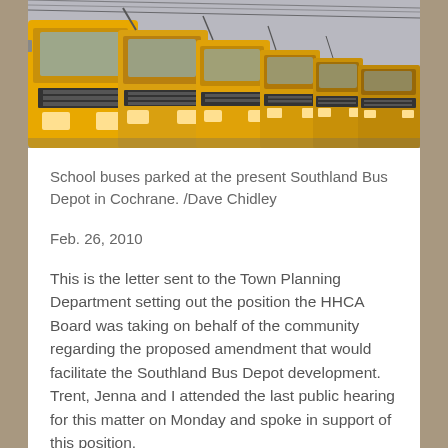[Figure (photo): Row of yellow school buses parked at the Southland Bus Depot in Cochrane, viewed from the front at an angle.]
School buses parked at the present Southland Bus Depot in Cochrane. /Dave Chidley
Feb. 26, 2010
This is the letter sent to the Town Planning Department setting out the position the HHCA Board was taking on behalf of the community regarding the proposed amendment that would facilitate the Southland Bus Depot development. Trent, Jenna and I attended the last public hearing for this matter on Monday and spoke in support of this position.
You should note that the public hearing is now closed and